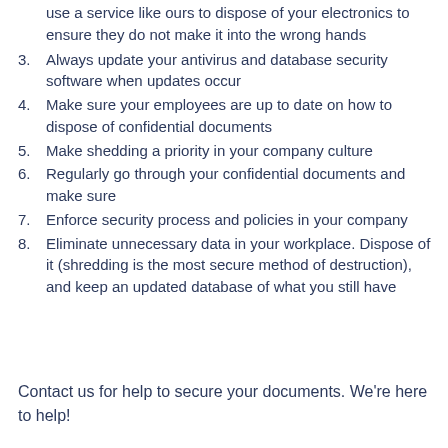use a service like ours to dispose of your electronics to ensure they do not make it into the wrong hands
3. Always update your antivirus and database security software when updates occur
4. Make sure your employees are up to date on how to dispose of confidential documents
5. Make shedding a priority in your company culture
6. Regularly go through your confidential documents and make sure
7. Enforce security process and policies in your company
8. Eliminate unnecessary data in your workplace. Dispose of it (shredding is the most secure method of destruction), and keep an updated database of what you still have
Contact us for help to secure your documents. We’re here to help!